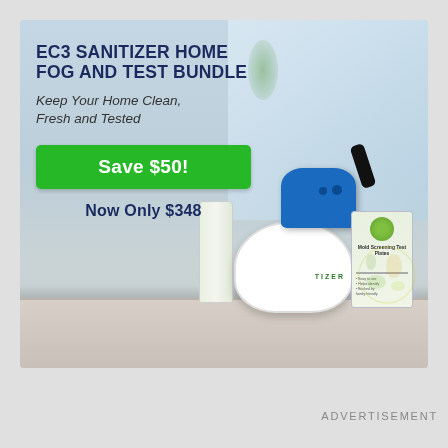[Figure (photo): Advertisement banner for EC3 Sanitizer Home Fog and Test Bundle. Shows a blue fogger machine, a bottle of EC3 sanitizer concentrate, and a Mold Screening Test Plates kit on a kitchen counter with blurred background.]
EC3 SANITIZER HOME FOG AND TEST BUNDLE
Keep Your Home Clean, Fresh and Tested
Save $50!
Now Only $348
ADVERTISEMENT